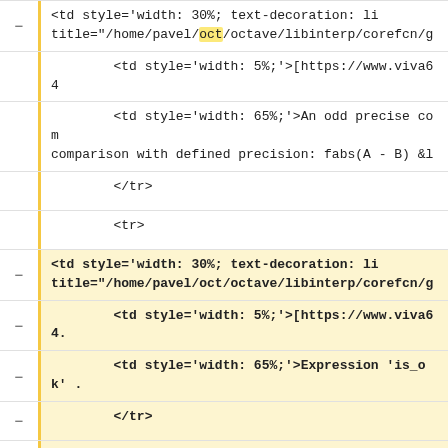<td style='width: 30%; text-decoration: li... title="/home/pavel/oct/octave/libinterp/corefcn/g
<td style='width: 5%;'>[https://www.viva64
<td style='width: 65%;'>An odd precise com... comparison with defined precision: fabs(A - B) &l
</tr>
<tr>
<td style='width: 30%; text-decoration: li... title="/home/pavel/oct/octave/libinterp/corefcn/g
<td style='width: 5%;'>[https://www.viva64.
<td style='width: 65%;'>Expression 'is_ok' .
</tr>
<tr>
<td style='width: 30%;'><div title="/home/p... (1896)</div></td>